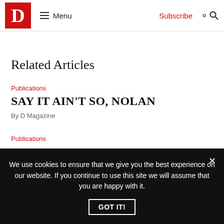D Magazine — Menu | Subscribe | Search
Related Articles
Publications
SAY IT AIN'T SO, NOLAN
By D Magazine
Publications
We use cookies to ensure that we give you the best experience on our website. If you continue to use this site we will assume that you are happy with it.
GOT IT!